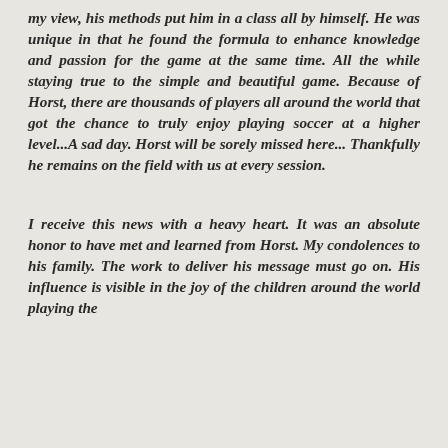my view, his methods put him in a class all by himself. He was unique in that he found the formula to enhance knowledge and passion for the game at the same time. All the while staying true to the simple and beautiful game. Because of Horst, there are thousands of players all around the world that got the chance to truly enjoy playing soccer at a higher level...A sad day. Horst will be sorely missed here... Thankfully he remains on the field with us at every session.
I receive this news with a heavy heart. It was an absolute honor to have met and learned from Horst. My condolences to his family. The work to deliver his message must go on. His influence is visible in the joy of the children around the world playing the